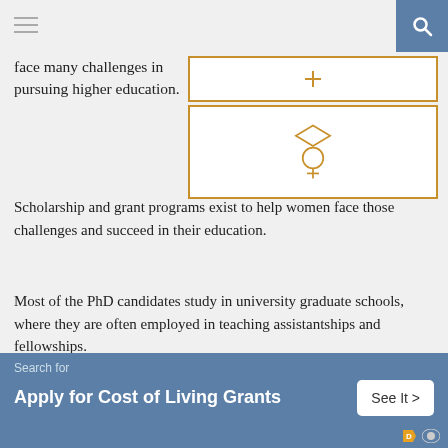[Figure (illustration): Navigation bar with hamburger menu icon on left and search icon on right with teal/blue background]
face many challenges in pursuing higher education.
[Figure (illustration): Two orange-bordered white boxes: top box with a cross/plus symbol, bottom box with a graduation cap over a female/Venus symbol icon in orange]
Scholarship and grant programs exist to help women face those challenges and succeed in their education.
Most of the PhD candidates study in university graduate schools, where they are often employed in teaching assistantships and fellowships.
Here is the list of the available scholarships and grants for female doctoral students worldwide.
[Figure (infographic): Ad banner with teal/blue background. Search for label, bold text 'Apply for Cost of Living Grants', and a 'See It >' button in white rounded rectangle. Small ad icons at bottom right.]